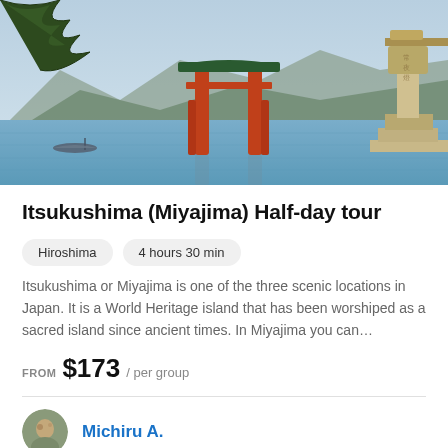[Figure (photo): Photo of the Itsukushima (Miyajima) floating torii gate in calm water with mountains in background, a boat to the left, and a stone lantern structure on the right]
Itsukushima (Miyajima) Half-day tour
Hiroshima
4 hours 30 min
Itsukushima or Miyajima is one of the three scenic locations in Japan. It is a World Heritage island that has been worshiped as a sacred island since ancient times. In Miyajima you can…
FROM  $173  / per group
Michiru A.